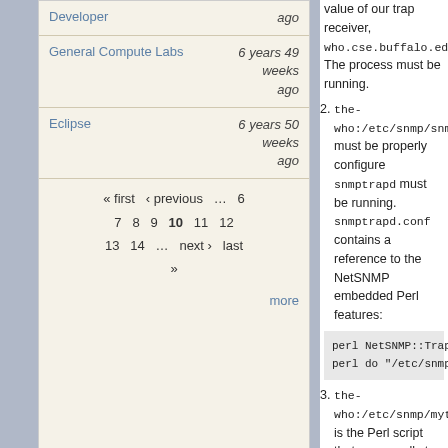General Compute Labs — 6 years 49 weeks ago
Eclipse — 6 years 50 weeks ago
« first ‹ previous … 6 7 8 9 10 11 12 13 14 … next › last »
more
value of our trap receiver, who.cse.buffalo.edu. The process must be running.
the-who:/etc/snmp/snmptrapd. must be properly configured. snmptrapd must be running. snmptrapd.conf contains a reference to the NetSNMP embedded Perl features:
perl NetSNMP::TrapR
perl do "/etc/snmp/
the-who:/etc/snmp/mytrap is the Perl script that snmpt calls to email trap messages to cse-staff.
FreeBSD snmptrapd Configuration
I couldn't make Net-SNMP 5.4.2